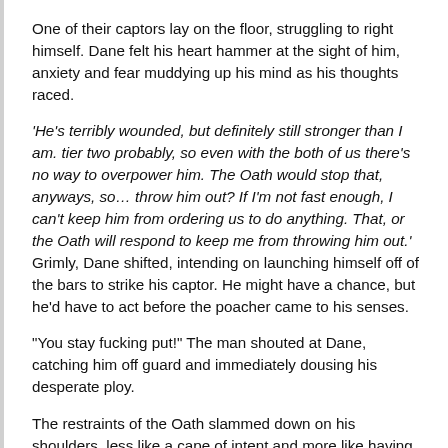One of their captors lay on the floor, struggling to right himself. Dane felt his heart hammer at the sight of him, anxiety and fear muddying up his mind as his thoughts raced.
'He's terribly wounded, but definitely still stronger than I am. tier two probably, so even with the both of us there's no way to overpower him. The Oath would stop that, anyways, so... throw him out? If I'm not fast enough, I can't keep him from ordering us to do anything. That, or the Oath will respond to keep me from throwing him out.' Grimly, Dane shifted, intending on launching himself off of the bars to strike his captor. He might have a chance, but he'd have to act before the poacher came to his senses.
“You stay fucking put!” The man shouted at Dane, catching him off guard and immediately dousing his desperate ploy.
The restraints of the Oath slammed down on his shoulders, less like a cape of intent and more like having grindstones lashed around his body. With a groan, he sank to his knees, furiously helpless as he sat back against the